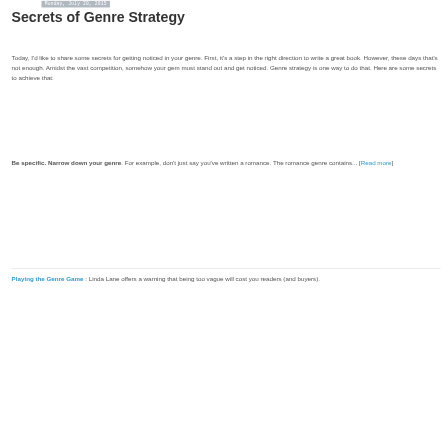Monday, July 20, 2015
Secrets of Genre Strategy
Today, I'd like to share some secrets for getting noticed in your genre. First, it's a step in the right direction to write a great book. However, these days that's not enough. Amidst the vast competition, somehow your gem must stand out and get noticed. Genre strategy is one way to do that. Here are some secrets to achieve that:
Be specific. Narrow down your genre. For example, don't just say you've written a romance. The romance genre contains... [Read more]
Playing the Genre Game : Linda Lane offers a warning that being too vague will cost you readers (and buyers).